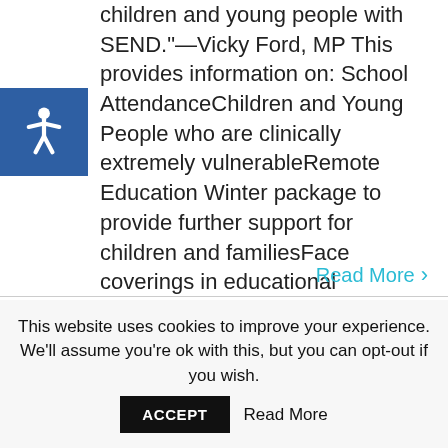children and young people with SEND."—Vicky Ford, MP This provides information on: School AttendanceChildren and Young People who are clinically extremely vulnerableRemote Education Winter package to provide further support for children and familiesFace coverings in educational settingsRespite CareHealth Services for CYP with SEND ...
Read More ›
This website uses cookies to improve your experience. We'll assume you're ok with this, but you can opt-out if you wish.
ACCEPT
Read More